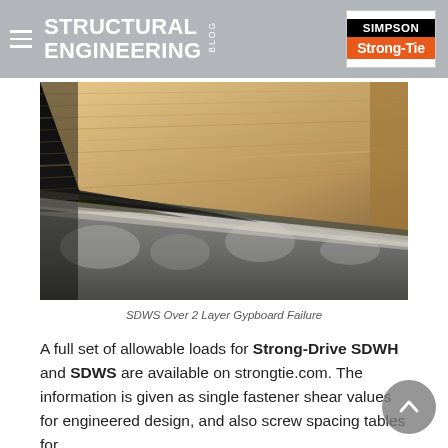STRUCTURAL ENGINEERING BLOG — Simpson Strong-Tie
[Figure (photo): Close-up photograph of wood failure — SDWS screw over 2 layer gypboard, showing laminated wood layers separating from concrete/cement substrate]
SDWS Over 2 Layer Gypboard Failure
A full set of allowable loads for Strong-Drive SDWH and SDWS are available on strongtie.com. The information is given as single fastener shear values for engineered design, and also screw spacing tables for